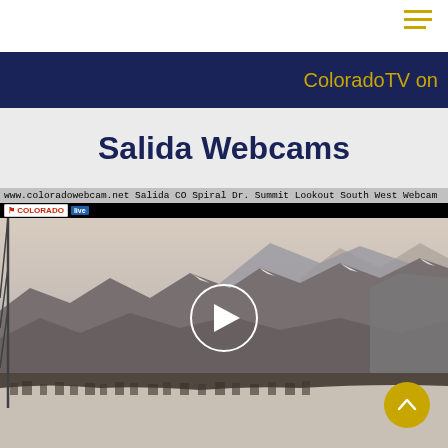ColoradoTV on
Salida Webcams
[Figure (screenshot): Webcam screenshot showing Salida CO Spiral Dr. Summit Lookout South West Webcam dated 2022-01-23 07:07:55, displaying a snowy mountain landscape panorama of Salida, Colorado with a play button overlay and Colorado logo badge. URL: www.coloradowebcam.net]